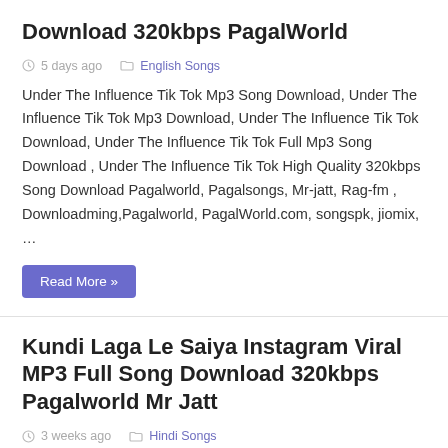Download 320kbps PagalWorld
5 days ago  English Songs
Under The Influence Tik Tok Mp3 Song Download, Under The Influence Tik Tok Mp3 Download, Under The Influence Tik Tok Download, Under The Influence Tik Tok Full Mp3 Song Download , Under The Influence Tik Tok High Quality 320kbps Song Download Pagalworld, Pagalsongs, Mr-jatt, Rag-fm , Downloadming,Pagalworld, PagalWorld.com, songspk, jiomix, …
Read More »
Kundi Laga Le Saiya Instagram Viral MP3 Full Song Download 320kbps Pagalworld Mr Jatt
3 weeks ago  Hindi Songs
Kundi Laga Le Saiya Instagram Viral Mp3 Song Download, Kundi Laga Le Saiya Instagram Viral Mp3 Download, Kundi Laga Le Saiya Instagram Viral Download, Kundi Laga Le Saiya Instagram Viral Full Mp3 Song Download , Kundi Laga Le Saiya Instagram Viral High Quality 320kbps Song Download Pagalworld, Pagalsongs, Mr-jatt,